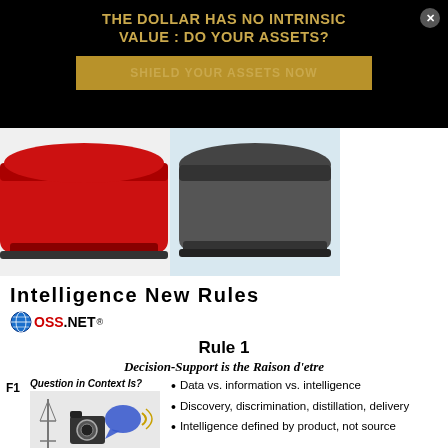THE DOLLAR HAS NO INTRINSIC VALUE : DO YOUR ASSETS?
SHIELD YOUR ASSETS NOW
[Figure (photo): Two baseball caps side by side — a red cap on the left and a black/dark cap on the right]
Intelligence New Rules
[Figure (logo): OSS.NET globe logo with red OSS text and black .NET text, registered trademark symbol]
Rule 1
Decision-Support is the Raison d'etre
F1   Question in Context Is?
F2
[Figure (illustration): Collage of images: antenna tower, old camera, speech bubble, newspaper clipping, lightbulb, figure with microphone]
Data vs. information vs. intelligence
Discovery, discrimination, distillation, delivery
Intelligence defined by product, not source